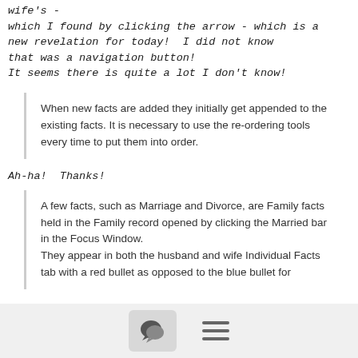wife's -
which I found by clicking the arrow - which is a new revelation for today!  I did not know that was a navigation button!
It seems there is quite a lot I don't know!
When new facts are added they initially get appended to the existing facts. It is necessary to use the re-ordering tools every time to put them into order.
Ah-ha!  Thanks!
A few facts, such as Marriage and Divorce, are Family facts held in the Family record opened by clicking the Married bar in the Focus Window.
They appear in both the husband and wife Individual Facts tab with a red bullet as opposed to the blue bullet for
[Figure (screenshot): Footer bar with a chat/comment icon button on the left (dark speech bubble icons on gray background) and a hamburger menu icon (three horizontal lines) on the right.]